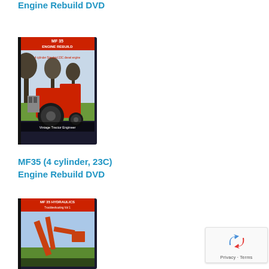Engine Rebuild DVD
[Figure (photo): DVD case for MF 35 Engine Rebuild - 4 cylinder Standard 23C diesel engine, showing a red MF35 tractor in a field. Labelled 'Vintage Tractor Engineer'.]
MF35 (4 cylinder, 23C) Engine Rebuild DVD
[Figure (photo): DVD case for MF 35 Hydraulics - Troubleshooting Vol 1, showing hydraulic loader on a tractor.]
[Figure (other): reCAPTCHA badge showing the Google reCAPTCHA logo and text 'Privacy · Terms']